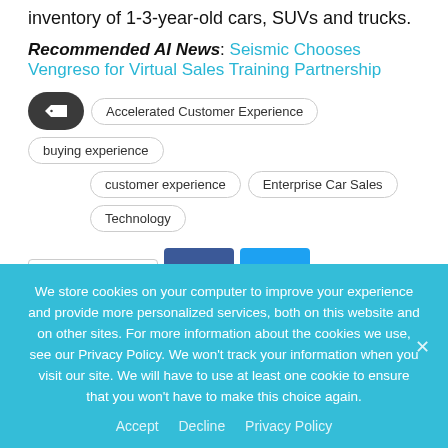inventory of 1-3-year-old cars, SUVs and trucks.
Recommended AI News: Seismic Chooses Vengreso for Virtual Sales Training Partnership
Accelerated Customer Experience
buying experience
customer experience
Enterprise Car Sales
Technology
Share
We store cookies on your computer to improve your experience and provide more personalized services, both on this website and on other sites. For more information about the cookies we use, see our Privacy Policy. We won't track your information when you visit our site. We will have to use at least one cookie to ensure that you won't have to make this choice again.
Accept   Decline   Privacy Policy